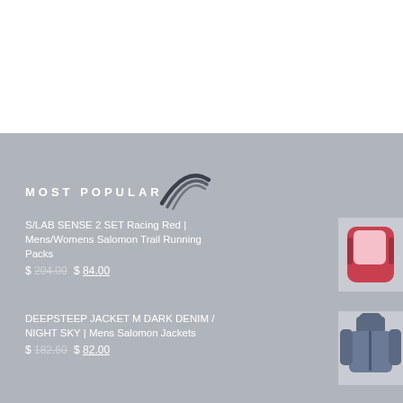MOST POPULAR
[Figure (logo): Salomon brand swoosh logo mark in dark grey]
S/LAB SENSE 2 SET Racing Red | Mens/Womens Salomon Trail Running Packs
$ 204.00  $ 84.00
[Figure (photo): Red and white trail running pack (Salomon S/LAB Sense 2 Set)]
DEEPSTEEP JACKET M DARK DENIM / NIGHT SKY | Mens Salomon Jackets
$ 182.60  $ 82.00
[Figure (photo): Dark blue/denim men's Salomon Deepsteep jacket worn by a model]